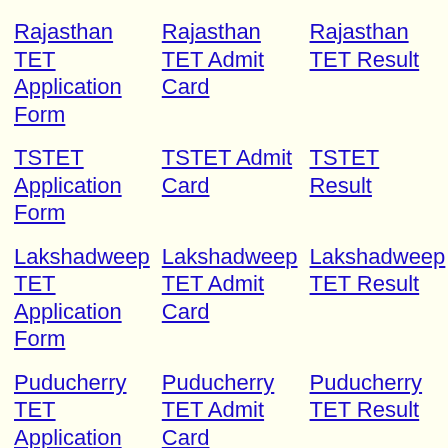Rajasthan TET Application Form
Rajasthan TET Admit Card
Rajasthan TET Result
TSTET Application Form
TSTET Admit Card
TSTET Result
Lakshadweep TET Application Form
Lakshadweep TET Admit Card
Lakshadweep TET Result
Puducherry TET Application Form
Puducherry TET Admit Card
Puducherry TET Result
Delhi TET Application Form
Delhi TET Admit Card
Delhi TET Result
Ladakh TET Application Form
Ladakh TET Admit Card
Ladakh TET Result
Chandigarh TET Application Form
Chandigarh TET Admit Card
Chandigarh TET Result